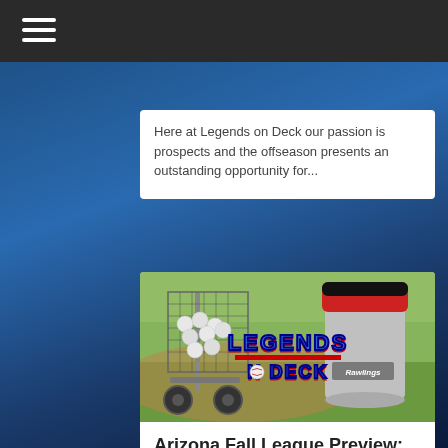Here at Legends on Deck our passion is prospects and the offseason presents an outstanding opportunity for...
[Figure (photo): Baseball field with a pitching machine cart loaded with baseballs and a Rawlings ball bucket, overlaid with 'Legends on Deck' logo text in blue and red.]
Arizona Fall League Preview: Glendale Desert Dogs
It's no secret that October is the best time of year to be a baseball fan. While...